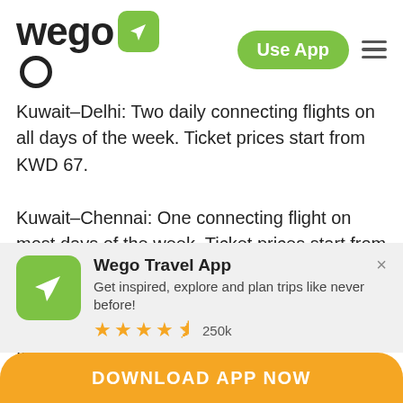wego — Use App [menu]
Kuwait–Delhi: Two daily connecting flights on all days of the week. Ticket prices start from KWD 67. Kuwait–Chennai: One connecting flight on most days of the week. Ticket prices start from KWD 72. Kuwait–Lucknow: Both direct and connecting flights are available on most days of the week. Ticket prices start from KWD 57.
[Figure (logo): Wego Travel App logo — green rounded square with white airplane icon]
Wego Travel App
Get inspired, explore and plan trips like never before!
★★★★½ 250k
DOWNLOAD APP NOW